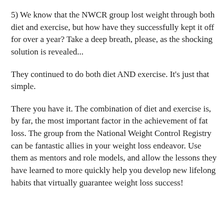5) We know that the NWCR group lost weight through both diet and exercise, but how have they successfully kept it off for over a year? Take a deep breath, please, as the shocking solution is revealed...
They continued to do both diet AND exercise. It's just that simple.
There you have it. The combination of diet and exercise is, by far, the most important factor in the achievement of fat loss. The group from the National Weight Control Registry can be fantastic allies in your weight loss endeavor. Use them as mentors and role models, and allow the lessons they have learned to more quickly help you develop new lifelong habits that virtually guarantee weight loss success!